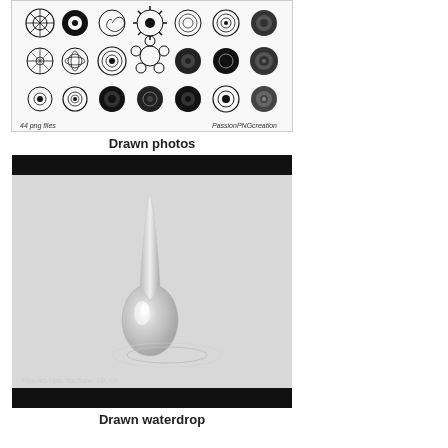[Figure (illustration): A collection of 44 hand-drawn flower illustrations in black and white, arranged in rows. Text at bottom left reads '44 png files' and at bottom right 'PassionPNGcreation'.]
Drawn photos
[Figure (photo): A grayscale photograph of a water droplet falling and hitting a surface, creating a splash effect. Text at bottom left reads 'Fine Art-Tips: YouTube, FB, G+'. The image has black bars at the top and bottom.]
Drawn waterdrop